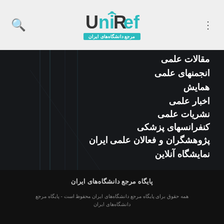UniRef - مرجع دانشگاه‌های ایران
مقالات علمی
انجمنهای علمی
همایش
اخبار علمی
نشریات علمی
کنفرانسهای پزشکی
پژوهشگران و فعالان علمی ایران
نمایشگاه آنلاین
پایگاه مرجع دانشگاه‌های ایران
همه حقوق برای پایگاه مرجع دانشگاه‌های ایران محفوظ است - پایگاه مرجع دانشگاه‌های ایران